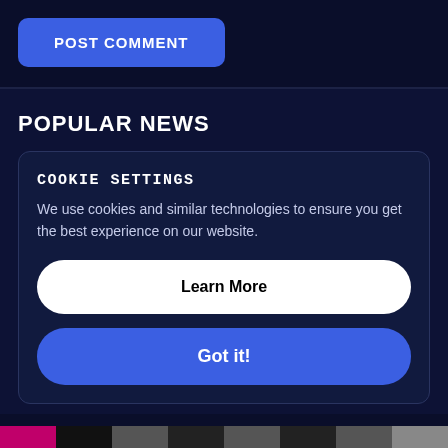POST COMMENT
POPULAR NEWS
COOKIE SETTINGS
We use cookies and similar technologies to ensure you get the best experience on our website.
Learn More
Got it!